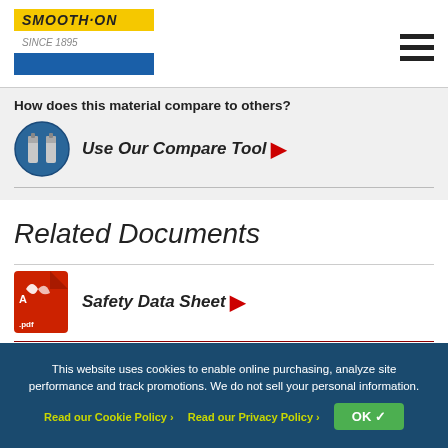Smooth-On logo and navigation
How does this material compare to others?
Use Our Compare Tool
Related Documents
Safety Data Sheet
Skin Safety Certification
For Industrial Use Only.
This website uses cookies to enable online purchasing, analyze site performance and track promotions. We do not sell your personal information. Read our Cookie Policy › Read our Privacy Policy › OK ✓